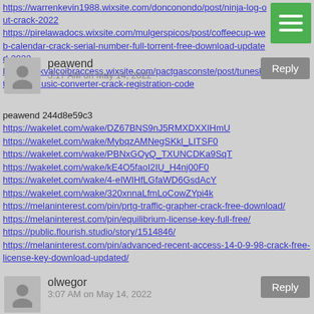https://warrenkevin1988.wixsite.com/donconondo/post/ninja-log-out-crack-2022
https://pirelawadocs.wixsite.com/mulgerspicos/post/coffeecup-web-calendar-crack-serial-number-full-torrent-free-download-updated-2022
https://linkvalcoibraccess.wixsite.com/pactgasconste/post/tuneskit-apple-music-converter-crack-registration-code
peawend 3:17 AM on May 14, 2022
peawend 244d8e59c3
https://wakelet.com/wake/DZ67BNS9nJ5RMXDXXIHmU
https://wakelet.com/wake/MybqzAMNegSKkl_LITSF0
https://wakelet.com/wake/PBNxGOyQ_TXUNCDKa9SqT
https://wakelet.com/wake/kE4O5faoI2IU_H4nj00F0
https://wakelet.com/wake/4-eIWIHfLGfaWD6GsdAcY
https://wakelet.com/wake/320xnnaLfmLoCowZYpi4k
https://melaninterest.com/pin/prtg-traffic-grapher-crack-free-download/
https://melaninterest.com/pin/equilibrium-license-key-full-free/
https://public.flourish.studio/story/1514846/
https://melaninterest.com/pin/advanced-recent-access-14-0-9-98-crack-free-license-key-download-updated/
olwegor 3:07 AM on May 14, 2022